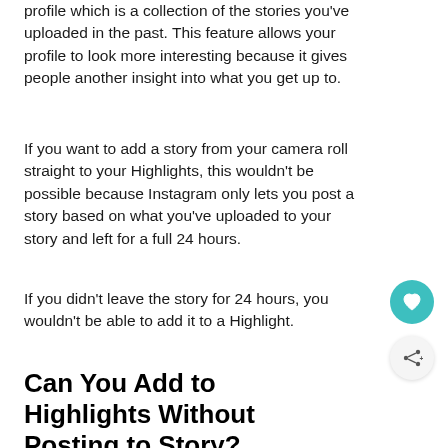profile which is a collection of the stories you've uploaded in the past. This feature allows your profile to look more interesting because it gives people another insight into what you get up to.
If you want to add a story from your camera roll straight to your Highlights, this wouldn't be possible because Instagram only lets you post a story based on what you've uploaded to your story and left for a full 24 hours.
If you didn't leave the story for 24 hours, you wouldn't be able to add it to a Highlight.
Can You Add to Highlights Without Posting to Story?